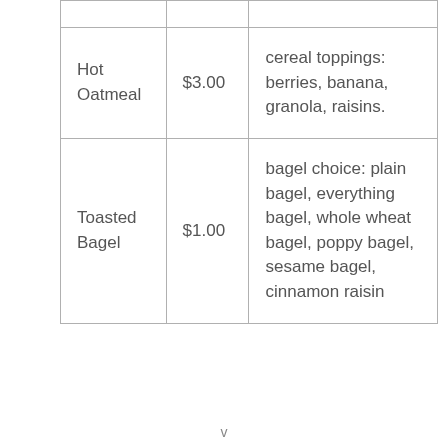|  |  |  |
| Hot Oatmeal | $3.00 | cereal toppings: berries, banana, granola, raisins. |
| Toasted Bagel | $1.00 | bagel choice: plain bagel, everything bagel, whole wheat bagel, poppy bagel, sesame bagel, cinnamon raisin |